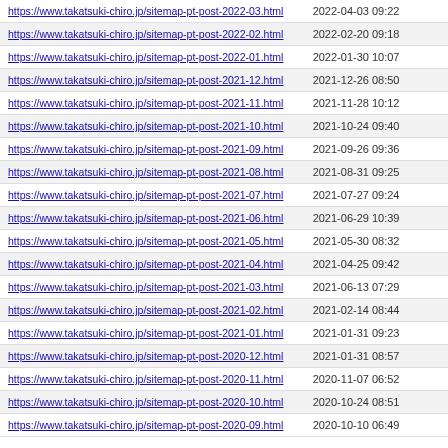| URL | Last Modified |
| --- | --- |
| https://www.takatsuki-chiro.jp/sitemap-pt-post-2022-03.html | 2022-04-03 09:22 |
| https://www.takatsuki-chiro.jp/sitemap-pt-post-2022-02.html | 2022-02-20 09:18 |
| https://www.takatsuki-chiro.jp/sitemap-pt-post-2022-01.html | 2022-01-30 10:07 |
| https://www.takatsuki-chiro.jp/sitemap-pt-post-2021-12.html | 2021-12-26 08:50 |
| https://www.takatsuki-chiro.jp/sitemap-pt-post-2021-11.html | 2021-11-28 10:12 |
| https://www.takatsuki-chiro.jp/sitemap-pt-post-2021-10.html | 2021-10-24 09:40 |
| https://www.takatsuki-chiro.jp/sitemap-pt-post-2021-09.html | 2021-09-26 09:36 |
| https://www.takatsuki-chiro.jp/sitemap-pt-post-2021-08.html | 2021-08-31 09:25 |
| https://www.takatsuki-chiro.jp/sitemap-pt-post-2021-07.html | 2021-07-27 09:24 |
| https://www.takatsuki-chiro.jp/sitemap-pt-post-2021-06.html | 2021-06-29 10:39 |
| https://www.takatsuki-chiro.jp/sitemap-pt-post-2021-05.html | 2021-05-30 08:32 |
| https://www.takatsuki-chiro.jp/sitemap-pt-post-2021-04.html | 2021-04-25 09:42 |
| https://www.takatsuki-chiro.jp/sitemap-pt-post-2021-03.html | 2021-06-13 07:29 |
| https://www.takatsuki-chiro.jp/sitemap-pt-post-2021-02.html | 2021-02-14 08:44 |
| https://www.takatsuki-chiro.jp/sitemap-pt-post-2021-01.html | 2021-01-31 09:23 |
| https://www.takatsuki-chiro.jp/sitemap-pt-post-2020-12.html | 2021-01-31 08:57 |
| https://www.takatsuki-chiro.jp/sitemap-pt-post-2020-11.html | 2020-11-07 06:52 |
| https://www.takatsuki-chiro.jp/sitemap-pt-post-2020-10.html | 2020-10-24 08:51 |
| https://www.takatsuki-chiro.jp/sitemap-pt-post-2020-09.html | 2020-10-10 06:49 |